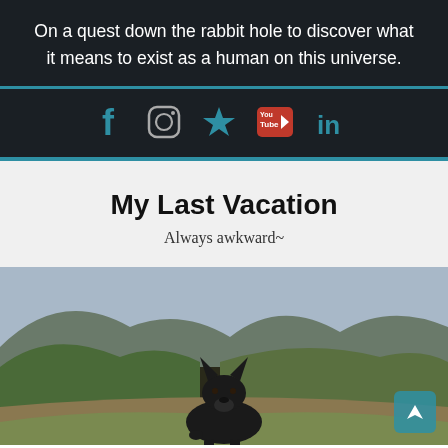On a quest down the rabbit hole to discover what it means to exist as a human on this universe.
[Figure (infographic): Social media icons row: Facebook (f), Instagram (circle camera), Bookmark/star, YouTube (You Tube red), LinkedIn (in)]
My Last Vacation
Always awkward~
[Figure (photo): A black German Shepherd dog sitting in a mountain valley with green hills and shrubs in the background]